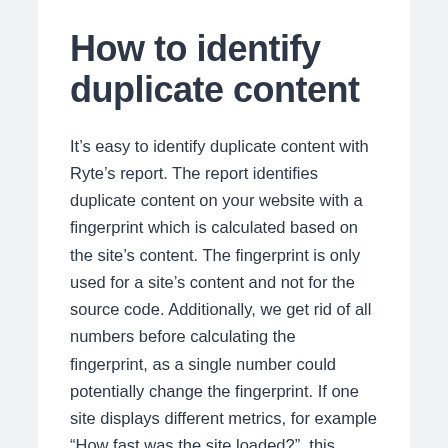How to identify duplicate content
It's easy to identify duplicate content with Ryte's report. The report identifies duplicate content on your website with a fingerprint which is calculated based on the site's content. The fingerprint is only used for a site's content and not for the source code. Additionally, we get rid of all numbers before calculating the fingerprint, as a single number could potentially change the fingerprint. If one site displays different metrics, for example “How fast was the site loaded?”, this would result in a different fingerprint at each time – this is prevented by